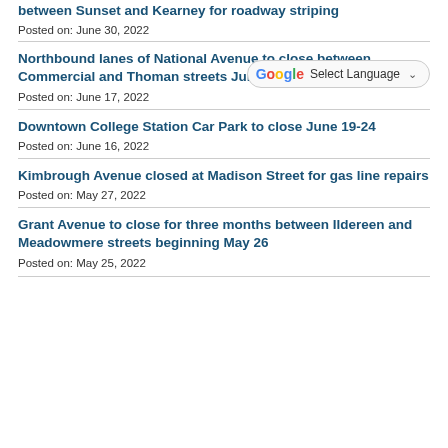between Sunset and Kearney for roadway striping
Posted on: June 30, 2022
Northbound lanes of National Avenue to close between Commercial and Thoman streets June 21-23
Posted on: June 17, 2022
Downtown College Station Car Park to close June 19-24
Posted on: June 16, 2022
Kimbrough Avenue closed at Madison Street for gas line repairs
Posted on: May 27, 2022
Grant Avenue to close for three months between Ildereen and Meadowmere streets beginning May 26
Posted on: May 25, 2022